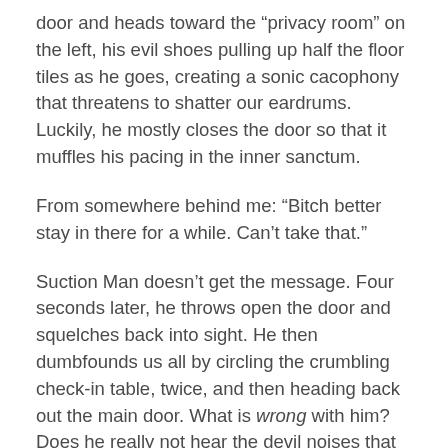door and heads toward the “privacy room” on the left, his evil shoes pulling up half the floor tiles as he goes, creating a sonic cacophony that threatens to shatter our eardrums. Luckily, he mostly closes the door so that it muffles his pacing in the inner sanctum.
From somewhere behind me: “Bitch better stay in there for a while. Can’t take that.”
Suction Man doesn’t get the message. Four seconds later, he throws open the door and squelches back into sight. He then dumbfounds us all by circling the crumbling check-in table, twice, and then heading back out the main door. What is wrong with him? Does he really not hear the devil noises that his shoes are making?
Incredibly, Suction Man marches right back in the room and continues with the sonic disturbance,